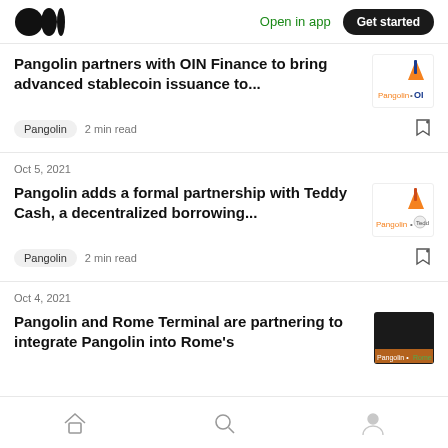Medium logo | Open in app | Get started
Pangolin partners with OIN Finance to bring advanced stablecoin issuance to...
Pangolin  2 min read
Oct 5, 2021
Pangolin adds a formal partnership with Teddy Cash, a decentralized borrowing...
Pangolin  2 min read
Oct 4, 2021
Pangolin and Rome Terminal are partnering to integrate Pangolin into Rome's
Home | Search | Profile